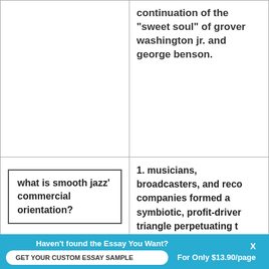continuation of the "sweet soul" of grover washington jr. and george benson.
what is smooth jazz' commercial orientation?
1. musicians, broadcasters, and record companies formed a symbiotic, profit-driven triangle perpetuating the style.
2. particularly welcomed by radio stations who purported to play jazz, but had playlists
Haven't found the Essay You Want?
GET YOUR CUSTOM ESSAY SAMPLE
For Only $13.90/page